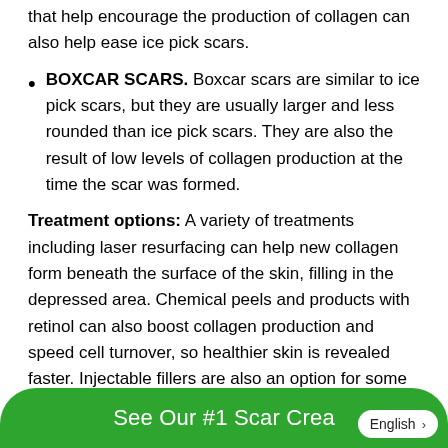that help encourage the production of collagen can also help ease ice pick scars.
BOXCAR SCARS. Boxcar scars are similar to ice pick scars, but they are usually larger and less rounded than ice pick scars. They are also the result of low levels of collagen production at the time the scar was formed.
Treatment options: A variety of treatments including laser resurfacing can help new collagen form beneath the surface of the skin, filling in the depressed area. Chemical peels and products with retinol can also boost collagen production and speed cell turnover, so healthier skin is revealed faster. Injectable fillers are also an option for some
See Our #1 Scar Crea...